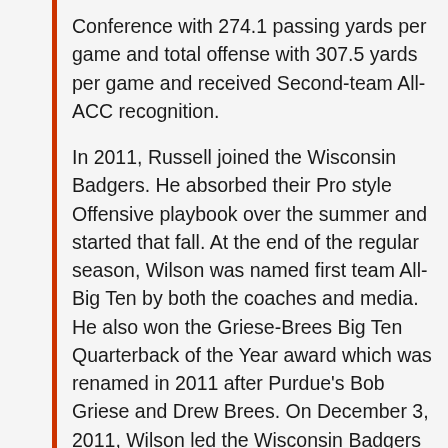Conference with 274.1 passing yards per game and total offense with 307.5 yards per game and received Second-team All-ACC recognition.
In 2011, Russell joined the Wisconsin Badgers. He absorbed their Pro style Offensive playbook over the summer and started that fall. At the end of the regular season, Wilson was named first team All-Big Ten by both the coaches and media. He also won the Griese-Brees Big Ten Quarterback of the Year award which was renamed in 2011 after Purdue’s Bob Griese and Drew Brees. On December 3, 2011, Wilson led the Wisconsin Badgers to victory in the inaugural Big 10 championship game and was named the game’s Grange-Griffin MVP. Wilson threw for three touchdowns in the game which ran his season total to 31. Wilson became just the fourth quarterback in Big Ten history to throw at least 30